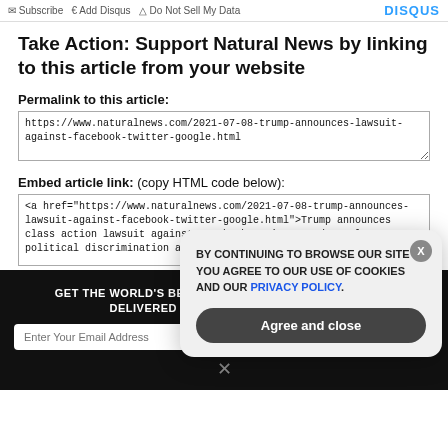Subscribe  Add Disqus  Do Not Sell My Data   DISQUS
Take Action: Support Natural News by linking to this article from your website
Permalink to this article:
https://www.naturalnews.com/2021-07-08-trump-announces-lawsuit-against-facebook-twitter-google.html
Embed article link: (copy HTML code below):
<a href="https://www.naturalnews.com/2021-07-08-trump-announces-lawsuit-against-facebook-twitter-google.html">Trump announces class action lawsuit against Facebook, Twitter and Google over political discrimination and deplatforming</a>
GET THE WORLD'S BEST NATURAL HEALTH NEWSLETTER DELIVERED STRAIGHT TO YOUR INBOX
BY CONTINUING TO BROWSE OUR SITE YOU AGREE TO OUR USE OF COOKIES AND OUR PRIVACY POLICY.
Agree and close